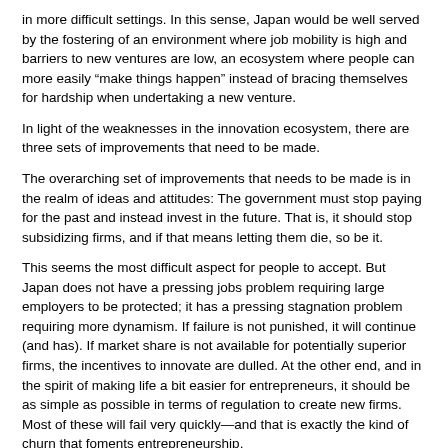in more difficult settings. In this sense, Japan would be well served by the fostering of an environment where job mobility is high and barriers to new ventures are low, an ecosystem where people can more easily “make things happen” instead of bracing themselves for hardship when undertaking a new venture.
In light of the weaknesses in the innovation ecosystem, there are three sets of improvements that need to be made.
The overarching set of improvements that needs to be made is in the realm of ideas and attitudes: The government must stop paying for the past and instead invest in the future. That is, it should stop subsidizing firms, and if that means letting them die, so be it.
This seems the most difficult aspect for people to accept. But Japan does not have a pressing jobs problem requiring large employers to be protected; it has a pressing stagnation problem requiring more dynamism. If failure is not punished, it will continue (and has). If market share is not available for potentially superior firms, the incentives to innovate are dulled. At the other end, and in the spirit of making life a bit easier for entrepreneurs, it should be as simple as possible in terms of regulation to create new firms. Most of these will fail very quickly—and that is exactly the kind of churn that foments entrepreneurship.
A second set of improvements has to do with people. Some changes will have a quick impact, others will require a decade or more. One step along